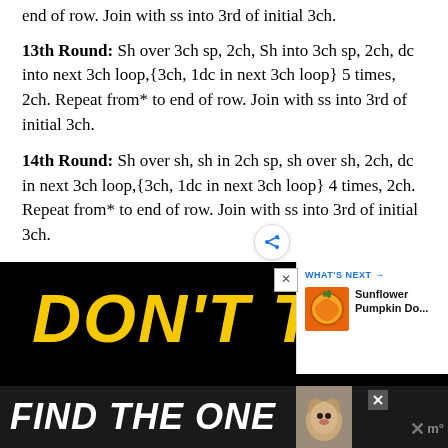end of row. Join with ss into 3rd of initial 3ch.
13th Round: Sh over 3ch sp, 2ch, Sh into 3ch sp, 2ch, dc into next 3ch loop,{3ch, 1dc in next 3ch loop} 5 times, 2ch. Repeat from* to end of row. Join with ss into 3rd of initial 3ch.
14th Round: Sh over sh, sh in 2ch sp, sh over sh, 2ch, dc in next 3ch loop,{3ch, 1dc in next 3ch loop} 4 times, 2ch. Repeat from* to end of row. Join with ss into 3rd of initial 3ch.
[Figure (screenshot): Advertisement banner showing 'DON'T TEXT' in large yellow italic text on black background, with a 'What's Next' panel showing a Sunflower Pumpkin Do... thumbnail, and a 'FIND THE ONE' banner at the bottom with a dog image.]